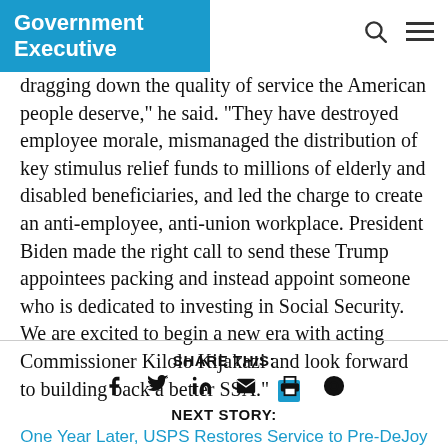Government Executive
dragging down the quality of service the American people deserve," he said. "They have destroyed employee morale, mismanaged the distribution of key stimulus relief funds to millions of elderly and disabled beneficiaries, and led the charge to create an anti-employee, anti-union workplace. President Biden made the right call to send these Trump appointees packing and instead appoint someone who is dedicated to investing in Social Security. We are excited to begin a new era with acting Commissioner Kilolo Kijakazi and look forward to building back a better SSA."
SHARE THIS:
NEXT STORY:
One Year Later, USPS Restores Service to Pre-DeJoy Levels